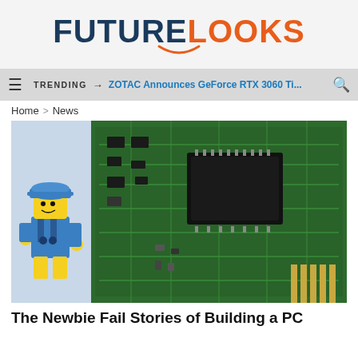FUTURELOOKS
TRENDING → ZOTAC Announces GeForce RTX 3060 Ti...
Home > News
[Figure (photo): A LEGO construction worker figure in blue overalls and blue hard hat posed in front of a green circuit board PCB with chips and components, representing a newbie PC builder.]
The Newbie Fail Stories of Building a PC